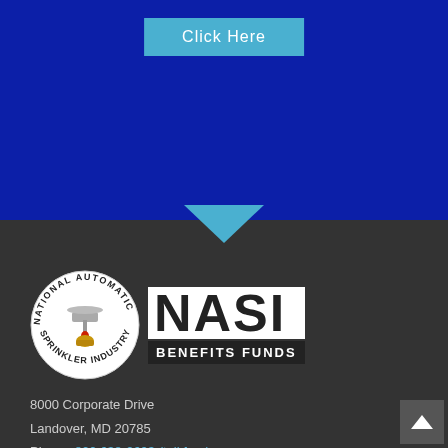Click Here
[Figure (logo): NASI Benefits Funds logo — circular emblem with sprinkler head and text 'National Automatic Sprinkler Industry' around the border, next to bold NASI text with 'BENEFITS FUNDS' subtitle]
8000 Corporate Drive
Landover, MD 20785
Phone: 800 638-2603 (toll free)
Phone: 301 577-1700 (local)
Fax: 301 429-4709